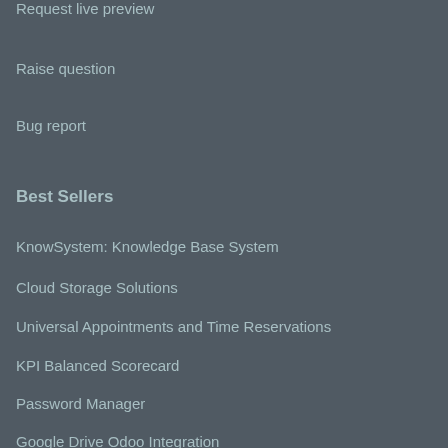Request live preview
Raise question
Bug report
Best Sellers
KnowSystem: Knowledge Base System
Cloud Storage Solutions
Universal Appointments and Time Reservations
KPI Balanced Scorecard
Password Manager
Google Drive Odoo Integration
ownCloud / Nextcloud Odoo Integration
OneDrive / SharePoint Odoo Integration
Universal Appointments: Portal and Website